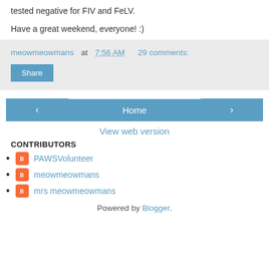tested negative for FIV and FeLV.
Have a great weekend, everyone! :)
meowmeowmans at 7:56 AM   29 comments:
Share
Home
View web version
CONTRIBUTORS
PAWSVolunteer
meowmeowmans
mrs meowmeowmans
Powered by Blogger.